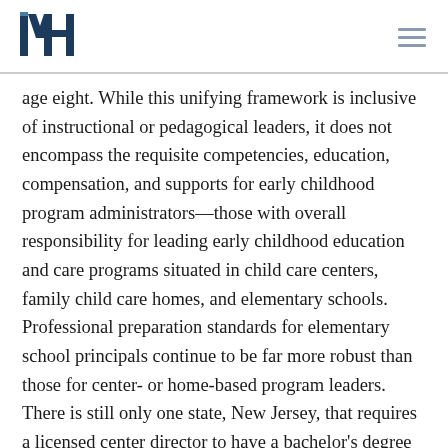MH logo and navigation menu
age eight. While this unifying framework is inclusive of instructional or pedagogical leaders, it does not encompass the requisite competencies, education, compensation, and supports for early childhood program administrators—those with overall responsibility for leading early childhood education and care programs situated in child care centers, family child care homes, and elementary schools. Professional preparation standards for elementary school principals continue to be far more robust than those for center- or home-based program leaders. There is still only one state, New Jersey, that requires a licensed center director to have a bachelor's degree (if the program serves more than thirty children). One emerging trend in child care licensing is the bifurcation